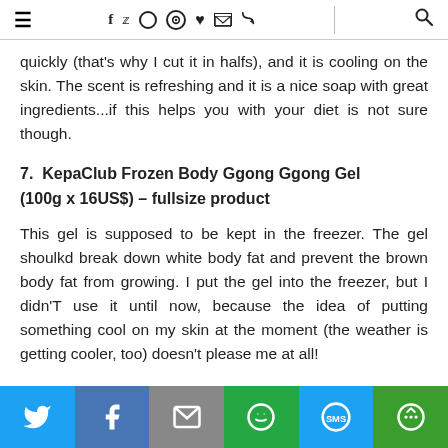≡  f  ♥  ✉  ◎  ♥  ✉  )))  🔍
quickly (that's why I cut it in halfs), and it is cooling on the skin. The scent is refreshing and it is a nice soap with great ingredients...if this helps you with your diet is not sure though.
7. KepaClub Frozen Body Ggong Ggong Gel (100g x 16US$) – fullsize product
This gel is supposed to be kept in the freezer. The gel shoulkd break down white body fat and prevent the brown body fat from growing. I put the gel into the freezer, but I didn'T use it until now, because the idea of putting something cool on my skin at the moment (the weather is getting cooler, too) doesn't please me at all!